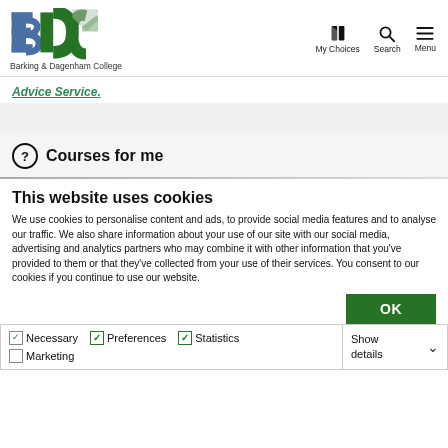Barking & Dagenham College — My Choices, Search, Menu
Advice Service.
Courses for me
This website uses cookies
We use cookies to personalise content and ads, to provide social media features and to analyse our traffic. We also share information about your use of our site with our social media, advertising and analytics partners who may combine it with other information that you've provided to them or that they've collected from your use of their services. You consent to our cookies if you continue to use our website.
OK
Necessary  Preferences  Statistics  Marketing  Show details